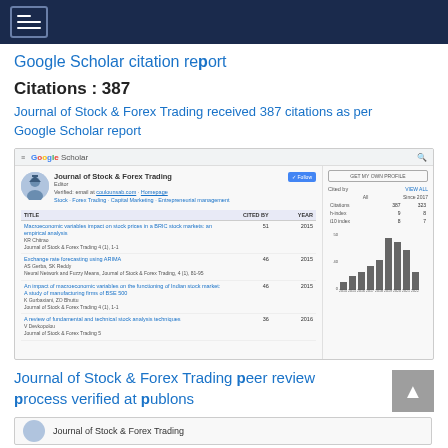Google Scholar citation report
Citations : 387
Journal of Stock & Forex Trading received 387 citations as per Google Scholar report
[Figure (screenshot): Screenshot of Google Scholar profile page for Journal of Stock & Forex Trading showing citation metrics, article list with cited-by counts, and a bar chart of citations by year.]
Journal of Stock & Forex Trading peer review process verified at publons
[Figure (screenshot): Partial screenshot of publons verification page for Journal of Stock & Forex Trading.]